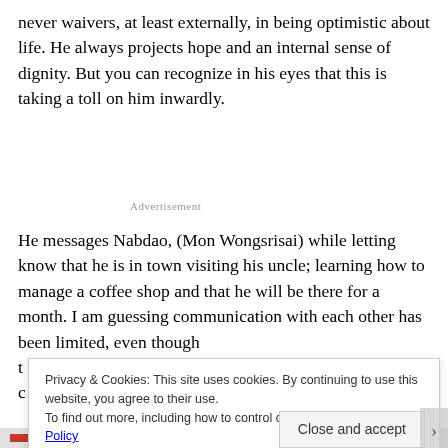never waivers, at least externally, in being optimistic about life. He always projects hope and an internal sense of dignity. But you can recognize in his eyes that this is taking a toll on him inwardly.
Advertisement
He messages Nabdao, (Mon Wongsrisai) while letting know that he is in town visiting his uncle; learning how to manage a coffee shop and that he will be there for a month. I am guessing communication with each other has been limited, even though t c
Privacy & Cookies: This site uses cookies. By continuing to use this website, you agree to their use.
To find out more, including how to control cookies, see here: Cookie Policy
Close and accept